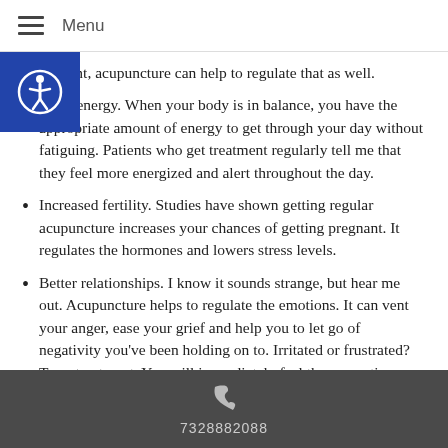Menu
movement, acupuncture can help to regulate that as well.
More energy. When your body is in balance, you have the appropriate amount of energy to get through your day without fatiguing. Patients who get treatment regularly tell me that they feel more energized and alert throughout the day.
Increased fertility. Studies have shown getting regular acupuncture increases your chances of getting pregnant. It regulates the hormones and lowers stress levels.
Better relationships. I know it sounds strange, but hear me out. Acupuncture helps to regulate the emotions. It can vent your anger, ease your grief and help you to let go of negativity you've been holding on to. Irritated or frustrated? Try a treatment. You will immediately feel those emotions slipping away. When your negative
7328882088